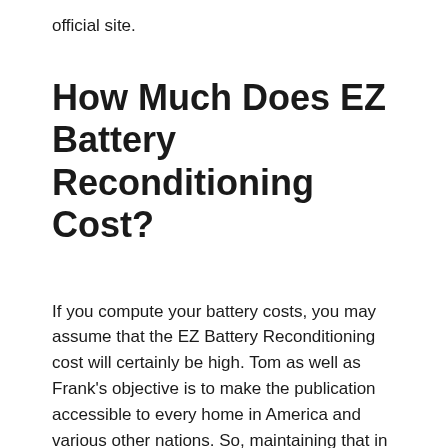official site.
How Much Does EZ Battery Reconditioning Cost?
If you compute your battery costs, you may assume that the EZ Battery Reconditioning cost will certainly be high. Tom as well as Frank's objective is to make the publication accessible to every home in America and various other nations. So, maintaining that in mind, they valued it moderately, expense simply $47, and obtain the lifetime accessibility to and future